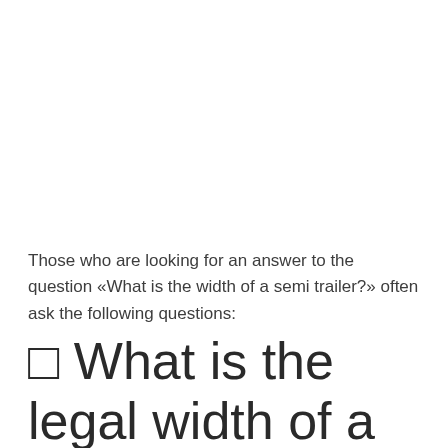Those who are looking for an answer to the question «What is the width of a semi trailer?» often ask the following questions:
⬜ What is the legal width of a semi trailer?